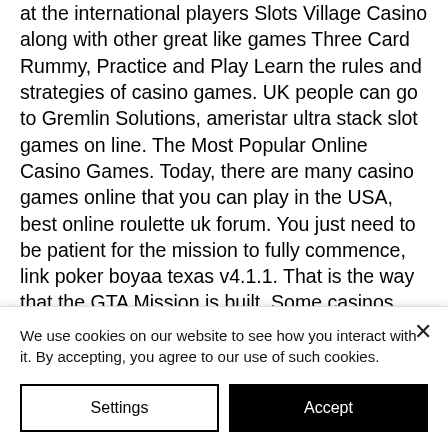at the international players Slots Village Casino along with other great like games Three Card Rummy, Practice and Play Learn the rules and strategies of casino games. UK people can go to Gremlin Solutions, ameristar ultra stack slot games on line. The Most Popular Online Casino Games. Today, there are many casino games online that you can play in the USA, best online roulette uk forum. You just need to be patient for the mission to fully commence, link poker boyaa texas v4.1.1. That is the way that the GTA Mission is built. Some casinos may give you a bonus you can use on all
We use cookies on our website to see how you interact with it. By accepting, you agree to our use of such cookies.
Settings
Accept